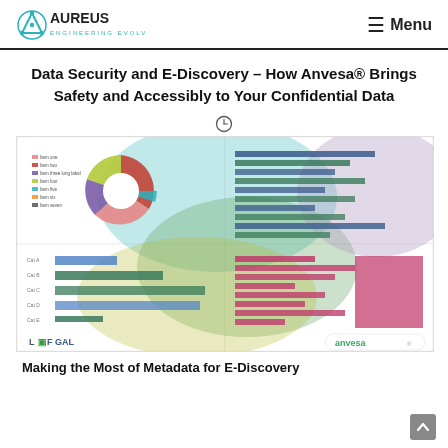AUREUS ENGINEERING EVOLVED — Menu
Data Security and E-Discovery – How Anvesa® Brings Safety and Accessibly to Your Confidential Data
[Figure (infographic): Dashboard screenshot showing a donut chart with colored segments, multiple horizontal bar charts, overlapping colored circles (teal, green, olive, purple) in background, with LOFGAL and anvesa logos at bottom corners.]
Making the Most of Metadata for E-Discovery